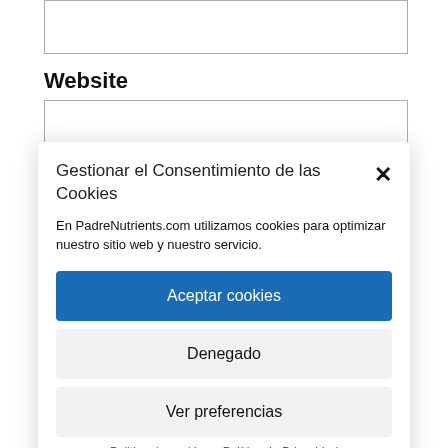[Figure (screenshot): Input box at top of form (partially visible)]
Website
[Figure (screenshot): Website input text field]
Gestionar el Consentimiento de las Cookies
En PadreNutrients.com utilizamos cookies para optimizar nuestro sitio web y nuestro servicio.
Aceptar cookies
Denegado
Ver preferencias
Politica de cookies  Política de Privacidad